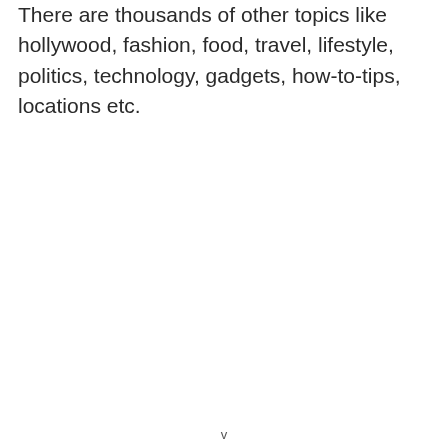There are thousands of other topics like hollywood, fashion, food, travel, lifestyle, politics, technology, gadgets, how-to-tips, locations etc.
v